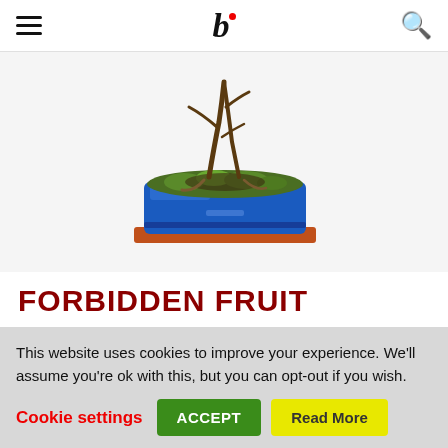b (bonsai website logo)
[Figure (photo): A bonsai tree in a rectangular blue glazed pot with green moss on the soil, roots visible, set against a white background. The pot sits on a brown tray.]
FORBIDDEN FRUIT
The challenge to grow bonsai from scratch: Ficus This content is for Basic, Plus, and Premium members only.
Log In   Join Now
This website uses cookies to improve your experience. We'll assume you're ok with this, but you can opt-out if you wish.
Cookie settings   ACCEPT   Read More